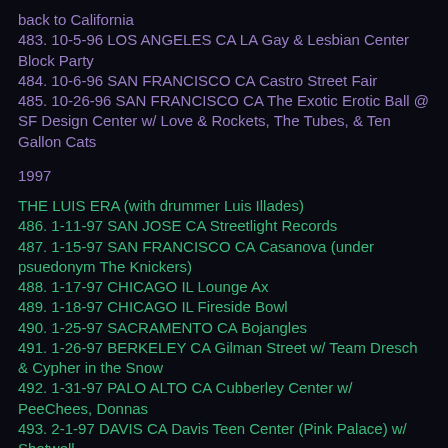back to California
483. 10-5-96 LOS ANGELES CA LA Gay & Lesbian Center Block Party
484. 10-6-96 SAN FRANCISCO CA Castro Street Fair
485. 10-26-96 SAN FRANCISCO CA The Exotic Erotic Ball @ SF Design Center w/ Love & Rockets, The Tubes, & Ten Gallon Cats
1997
THE LUIS ERA (with drummer Luis Illades)
486. 1-11-97 SAN JOSE CA Streetlight Records
487. 1-15-97 SAN FRANCISCO CA Casanova (under psuedonym The Knickers)
488. 1-17-97 CHICAGO IL Lounge Ax
489. 1-18-97 CHICAGO IL Fireside Bowl
490. 1-25-97 SACRAMENTO CA Bojangles
491. 1-26-97 BERKELEY CA Gilman Street w/ Team Dresch & Cypher in the Snow
492. 1-31-97 PALO ALTO CA Cubberley Center w/ PeeChees, Donnas
493. 2-1-97 DAVIS CA Davis Teen Center (Pink Palace) w/ Shotwell
494. 2-5-97 LOS ANGELES CA ...